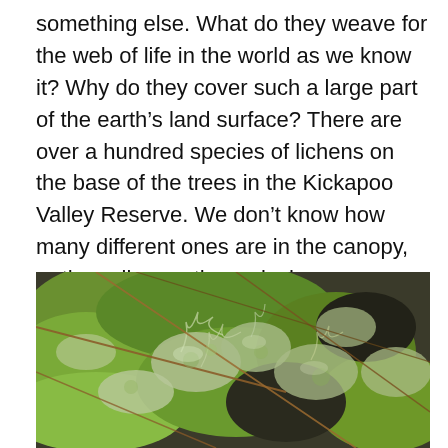something else. What do they weave for the web of life in the world as we know it? Why do they cover such a large part of the earth’s land surface? There are over a hundred species of lichens on the base of the trees in the Kickapoo Valley Reserve. We don’t know how many different ones are in the canopy, or the soil or on the rocks here. Everything in Nature has a place and a purpose. The Lichen Hunters are exploring what that might be for the lichens in the Kickapoo. Come on out for a walk in the woods and help us learn about the Tiny Ones.
[Figure (photo): Close-up photograph of lichens and moss growing on a surface, showing green moss, grey-green lichen with branching structures, and thin brown twigs/stems crossing the image.]